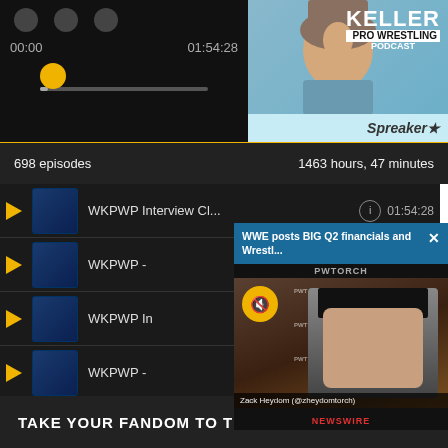[Figure (screenshot): Podcast player interface showing Keller Pro Wrestling Podcast on Spreaker with time 00:00 / 01:54:28 and a scrubber bar]
698 episodes    1463 hours, 47 minutes
[Figure (screenshot): Episode list showing WKPWP episodes with play buttons and thumbnails. First episode shows duration 01:54:28]
[Figure (screenshot): Popup notification: WWE posts BIG Q2 financials and Wrestl... from PWTORCH showing Zack Heydom (@zheydomtorch) video]
TAKE YOUR FANDOM TO THE NEXT LEVEL